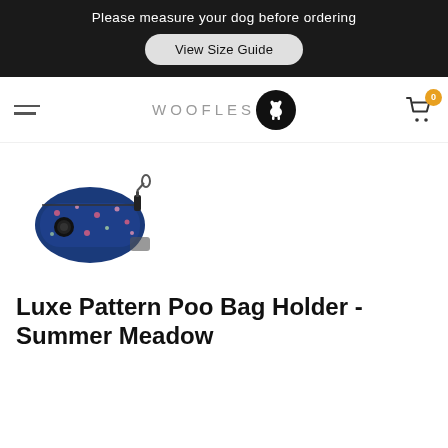Please measure your dog before ordering
View Size Guide
[Figure (logo): WOOFLES logo with dog silhouette in black circle]
[Figure (photo): Blue patterned poo bag holder with black zipper pull, small pouch shaped product]
Luxe Pattern Poo Bag Holder - Summer Meadow